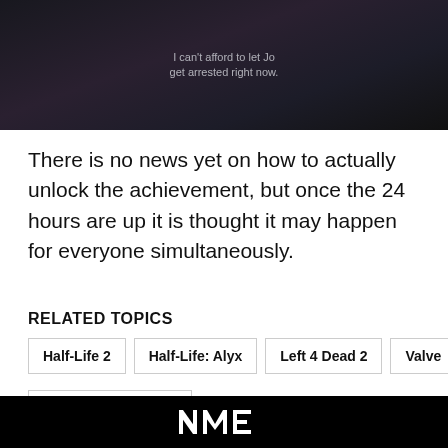[Figure (screenshot): Dark screenshot from a video game or TV scene with subtitle text: 'I can't afford to let Jo get arrested right now.']
There is no news yet on how to actually unlock the achievement, but once the 24 hours are up it is thought it may happen for everyone simultaneously.
RELATED TOPICS
Half-Life 2
Half-Life: Alyx
Left 4 Dead 2
Valve
Video Game Culture
NME